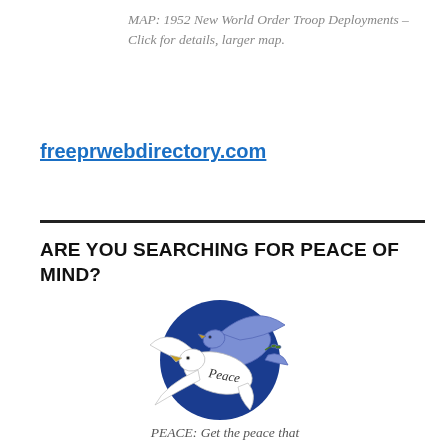MAP: 1952 New World Order Troop Deployments – Click for details, larger map.
freeprwebdirectory.com
ARE YOU SEARCHING FOR PEACE OF MIND?
[Figure (illustration): Two doves (one white, one blue/purple) flying in front of a dark blue circle, with the word 'Peace' written in script on the white dove.]
PEACE: Get the peace that